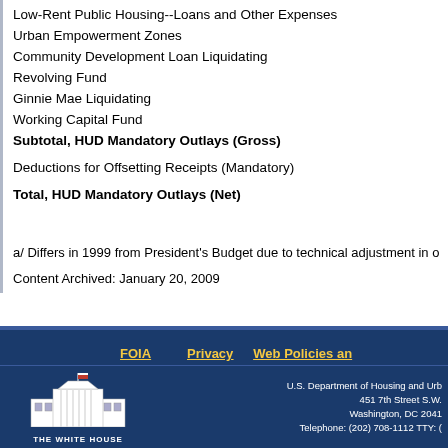Low-Rent Public Housing--Loans and Other Expenses
Urban Empowerment Zones
Community Development Loan Liquidating
Revolving Fund
Ginnie Mae Liquidating
Working Capital Fund
Subtotal, HUD Mandatory Outlays (Gross)
Deductions for Offsetting Receipts (Mandatory)
Total, HUD Mandatory Outlays (Net)
a/ Differs in 1999 from President's Budget due to technical adjustment in o
Content Archived: January 20, 2009
FOIA   Privacy   Web Policies an...
U.S. Department of Housing and Urb...
451 7th Street S.W.
Washington, DC 2041...
Telephone: (202) 708-1112 TTY: (...